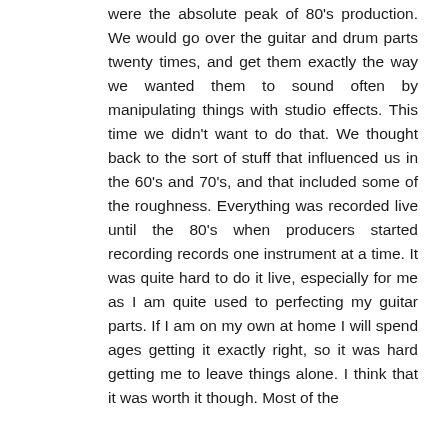were the absolute peak of 80's production. We would go over the guitar and drum parts twenty times, and get them exactly the way we wanted them to sound often by manipulating things with studio effects. This time we didn't want to do that. We thought back to the sort of stuff that influenced us in the 60's and 70's, and that included some of the roughness. Everything was recorded live until the 80's when producers started recording records one instrument at a time. It was quite hard to do it live, especially for me as I am quite used to perfecting my guitar parts. If I am on my own at home I will spend ages getting it exactly right, so it was hard getting me to leave things alone. I think that it was worth it though. Most of the